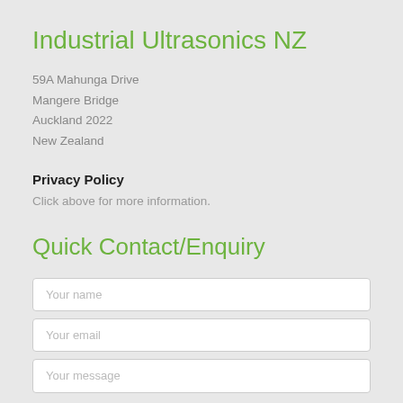Industrial Ultrasonics NZ
59A Mahunga Drive
Mangere Bridge
Auckland 2022
New Zealand
Privacy Policy
Click above for more information.
Quick Contact/Enquiry
Your name
Your email
Your message